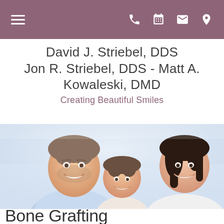Navigation header with hamburger menu and icons: phone, calendar, email, location
David J. Striebel, DDS
Jon R. Striebel, DDS - Matt A. Kowaleski, DMD
Creating Beautiful Smiles
[Figure (photo): Smiling family of three (father, young child, mother) posing together closely, all showing bright smiles]
Bone Grafting